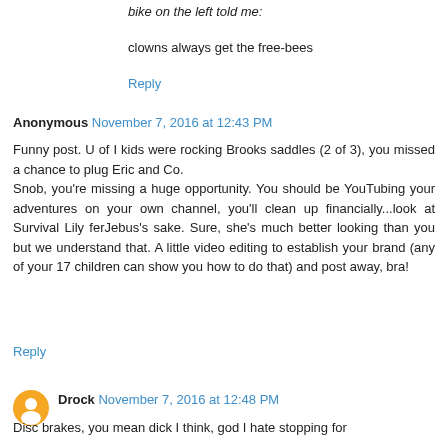bike on the left told me:
clowns always get the free-bees
Reply
Anonymous November 7, 2016 at 12:43 PM
Funny post. U of I kids were rocking Brooks saddles (2 of 3), you missed a chance to plug Eric and Co. Snob, you're missing a huge opportunity. You should be YouTubing your adventures on your own channel, you'll clean up financially...look at Survival Lily ferJebus's sake. Sure, she's much better looking than you but we understand that. A little video editing to establish your brand (any of your 17 children can show you how to do that) and post away, bra!
Reply
Drock November 7, 2016 at 12:48 PM
Disc brakes, you mean dick I think, god I hate stopping for